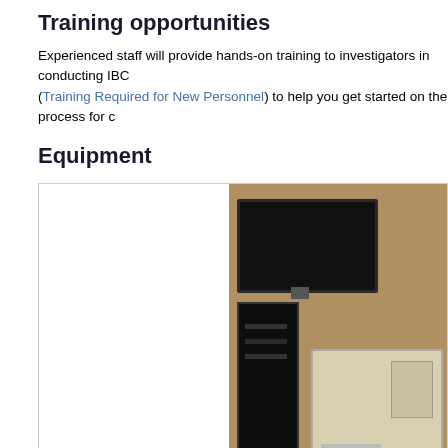Training opportunities
Experienced staff will provide hands-on training to investigators in conducting IBC (Training Required for New Personnel) to help you get started on the process for c
Equipment
[Figure (photo): Laboratory equipment including a computer monitor, tower, and scientific instrument on a desk in a lab setting with warm brown background]
Protocols/Procedures
Please fill out the service request form and email it to the ABSL/BSL-3 Biocontain
ABSL/BSL-3 Service Form